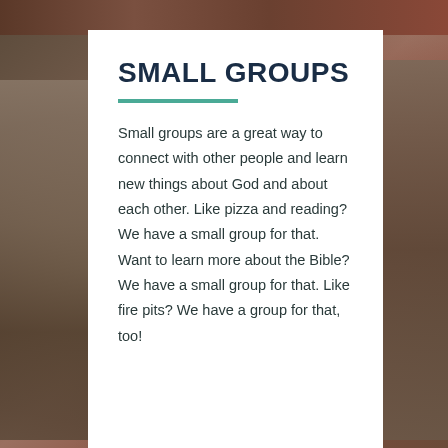[Figure (photo): Background photo of people sitting in small group gathering, with warm indoor lighting. People visible on left and right edges.]
SMALL GROUPS
Small groups are a great way to connect with other people and learn new things about God and about each other. Like pizza and reading? We have a small group for that. Want to learn more about the Bible? We have a small group for that. Like fire pits? We have a group for that, too!